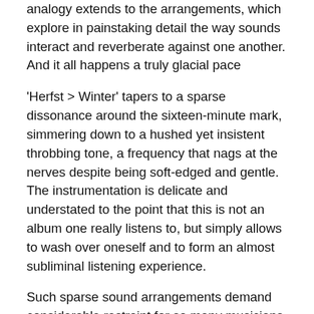analogy extends to the arrangements, which explore in painstaking detail the way sounds interact and reverberate against one another. And it all happens a truly glacial pace
'Herfst > Winter' tapers to a sparse dissonance around the sixteen-minute mark, simmering down to a hushed yet insistent throbbing tone, a frequency that nags at the nerves despite being soft-edged and gentle. The instrumentation is delicate and understated to the point that this is not an album one really listens to, but simply allows to wash over oneself and to form an almost subliminal listening experience.
Such sparse sound arrangements demand considerable restraint for so many musicians, and the collective result in many respects is one of subtraction. And yet, this is by no means a negative assessment. The music's presence increases after the slow fade to silence.